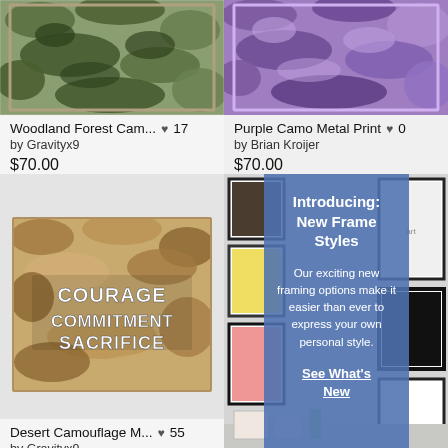[Figure (photo): Woodland forest camouflage metal print - green/brown camo pattern on canvas/metal]
Woodland Forest Cam... ♥ 17
by Gravityx9
$70.00
[Figure (photo): Purple camo metal print - purple camouflage pattern]
Purple Camo Metal Print ♥ 0
by Brian Kroijer
$70.00
[Figure (photo): Desert camouflage metal print with text COURAGE COMMITMENT SACRIFICE in white military stencil font]
Desert Camouflage M... ♥ 55
by Gravityx9
[Figure (infographic): Blue overlay promotional banner: Introducing: New Frame Styles. Our exciting new framing options make it easier than ever to express your own personal style. See What's New]